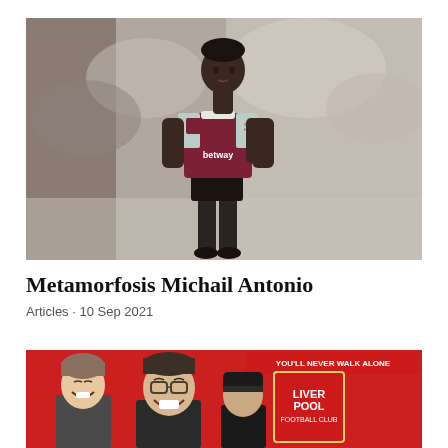[Figure (photo): A football player in a claret and blue West Ham United shirt with 'betway' sponsor, walking on a pitch with blurred crowd in background]
Metamorfosis Michail Antonio
Articles · 10 Sep 2021
[Figure (photo): Two smiling men at what appears to be a Liverpool FC event, with 'YOU'LL NEVER WALK ALONE' and Liverpool FC club crest visible in background]